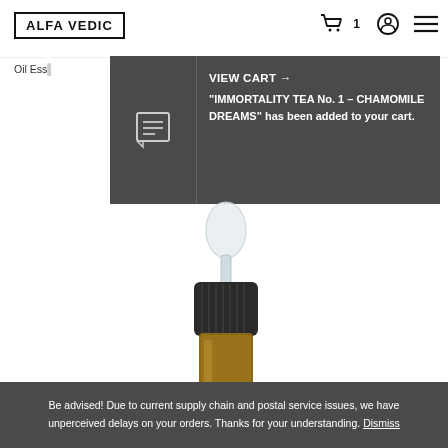ALFA VEDIC
Oil Ess...
VIEW CART → "IMMORTALITY TEA No. 1 – CHAMOMILE DREAMS" has been added to your cart.
[Figure (photo): Amber dropper bottle with black cap and clear glass dropper bulb on top, product for Alfa Vedic oil essentials]
Be advised! Due to current supply chain and postal service issues, we have unperceived delays on your orders. Thanks for your understanding. Dismiss